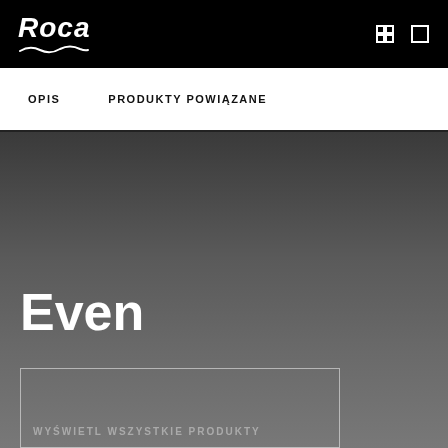Roca
OPIS    PRODUKTY POWIĄZANE
Even
WYŚWIETL WSZYSTKIE PRODUKTY